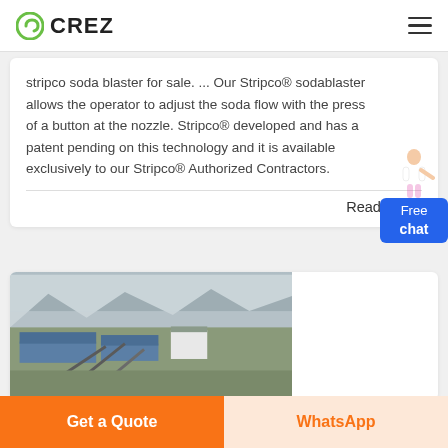CREZ
stripco soda blaster for sale. ... Our Stripco® sodablaster allows the operator to adjust the soda flow with the press of a button at the nozzle. Stripco® developed and has a patent pending on this technology and it is available exclusively to our Stripco® Authorized Contractors.
Read More
[Figure (photo): Aerial view of an industrial facility with conveyor structures, blue-roofed buildings, and mountains in the background on a hazy day.]
Get a Quote
WhatsApp